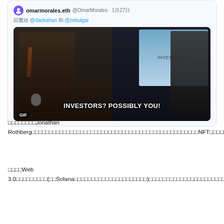[Figure (screenshot): Screenshot of a tweet by omarmorales.eth (@OmarMorales) dated 1月27日, replying to @dankahan and @zebulgar, containing a GIF image showing two men in suits on a stage with a presentation slide reading 'INVESTORS?' in the background, and subtitle text 'INVESTORS? POSSIBLY YOU!' at the bottom, with a 'GIF' label in the lower left corner.]
□□□□□□□□Jonathan Rothberg□□□□□□□□□□□□□□□□□□□□□□□□□□□□□□□□□□□□□□□□□□□□□□□□NFT□□□□□□□□□□□□□□□□
□□□□Web 3.0□□□□□□□□□(□□Solana□□□□□□□□□□□□□□□□□□□□□)□□□□□□□□□□□□□□□□□□□□□□□□□□□□□□□□□□□□□□□□□□□□□□□□□□□□□□□□□□□□□□□□□□□□□□□□□□□□□□□□□□□